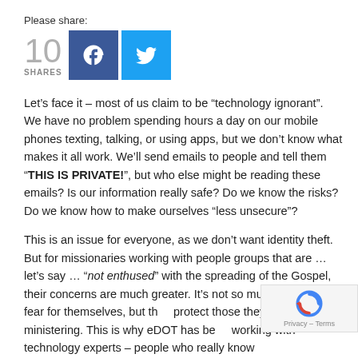Please share:
[Figure (infographic): Share widget showing 10 shares, Facebook button and Twitter button]
Let’s face it – most of us claim to be “technology ignorant”.  We have no problem spending hours a day on our mobile phones texting, talking, or using apps, but we don’t know what makes it all work. We’ll send emails to people and tell them “THIS IS PRIVATE!”, but who else might be reading these emails? Is our information really safe? Do we know the risks? Do we know how to make ourselves “less unsecure”?
This is an issue for everyone, as we don’t want identity theft. But for missionaries working with people groups that are … let’s say … “not enthused” with the spreading of the Gospel, their concerns are much greater. It’s not so much that they fear for themselves, but they protect those they are ministering. This is why eDOT has been working with technology experts – people who really know how these different pieces of technology work – to have times of
[Figure (other): reCAPTCHA widget overlay in bottom right corner with Privacy – Terms text]